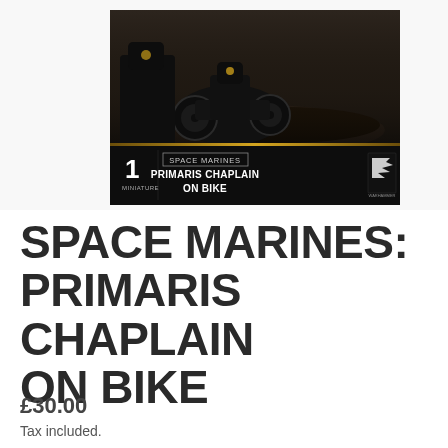[Figure (photo): Product box image for Space Marines: Primaris Chaplain on Bike miniature set. Dark box with artwork showing the miniature on a rubble-strewn battlefield. Box shows '1 MINIATURE', 'SPACE MARINES', 'PRIMARIS CHAPLAIN ON BIKE', and the Games Workshop logo.]
SPACE MARINES: PRIMARIS CHAPLAIN ON BIKE
£30.00
Tax included.